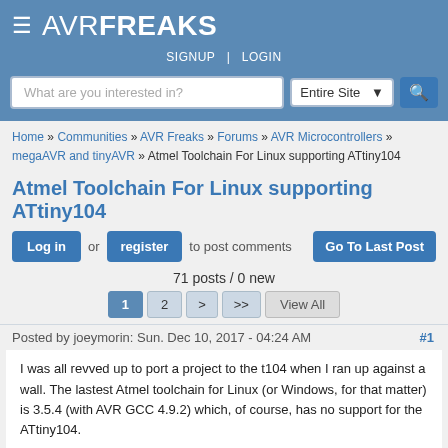AVRFREAKS
SIGNUP | LOGIN
What are you interested in?
Atmel Toolchain For Linux supporting ATtiny104
Home » Communities » AVR Freaks » Forums » AVR Microcontrollers » megaAVR and tinyAVR » Atmel Toolchain For Linux supporting ATtiny104
Log in or register to post comments  Go To Last Post
71 posts / 0 new
Posted by joeymorin: Sun. Dec 10, 2017 - 04:24 AM  #1
I was all revved up to port a project to the t104 when I ran up against a wall. The lastest Atmel toolchain for Linux (or Windows, for that matter) is 3.5.4 (with AVR GCC 4.9.2) which, of course, has no support for the ATtiny104.
I found the atpack which includes support for the t104, but I'm not sure how, or even if, I can integrate that into the 3.5.4 toolchain.  I've identified a few files which appear to extend the Atmel toolchain for the ATtiny104.